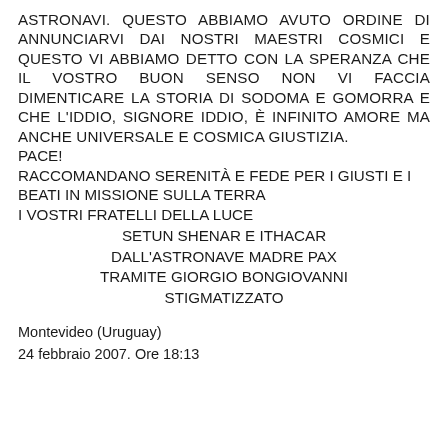ASTRONAVI. QUESTO ABBIAMO AVUTO ORDINE DI ANNUNCIARVI DAI NOSTRI MAESTRI COSMICI E QUESTO VI ABBIAMO DETTO CON LA SPERANZA CHE IL VOSTRO BUON SENSO NON VI FACCIA DIMENTICARE LA STORIA DI SODOMA E GOMORRA E CHE L'IDDIO, SIGNORE IDDIO, È INFINITO AMORE MA ANCHE UNIVERSALE E COSMICA GIUSTIZIA.
PACE!
RACCOMANDANO SERENITÀ E FEDE PER I GIUSTI E I BEATI IN MISSIONE SULLA TERRA
I VOSTRI FRATELLI DELLA LUCE
SETUN SHENAR E ITHACAR
DALL'ASTRONAVE MADRE PAX
TRAMITE GIORGIO BONGIOVANNI
STIGMATIZZATO
Montevideo (Uruguay)
24 febbraio 2007. Ore 18:13